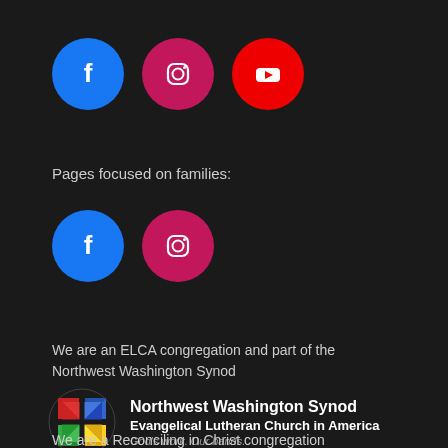[Figure (illustration): Three social media icons: Facebook (blue circle), Instagram (pink circle), YouTube (red circle)]
Pages focused on families:
[Figure (illustration): Two social media icons for family pages: Facebook (blue circle), Instagram (pink circle)]
We are an ELCA congregation and part of the Northwest Washington Synod
[Figure (logo): Northwest Washington Synod logo - colorful cross/compass rose emblem with Northwest Washington Synod, Evangelical Lutheran Church in America, God's work. Our hands.]
We are a Reconciling in Christ congregation